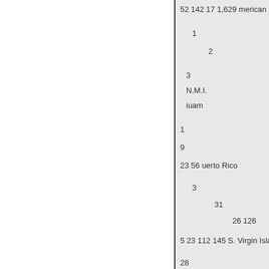| 52 | 142 | 17 | 1,629 | merican Sam |
| 1 |  |  |  |  |
|  | 2 |  |  |  |
| 3 |  |  |  |  |
|  | N.M.I. |  |  |  |
|  | iuam |  |  |  |
| 1 |  |  |  |  |
| 9 |  |  |  |  |
| 23 | 56 | uerto Rico |  |  |
|  | 3 |  |  |  |
|  |  | 31 |  |  |
|  |  |  | 26 | 126 |
| 5 | 23 | 112 | 145 | S. Virgin Islands |
| 28 |  |  |  |  |